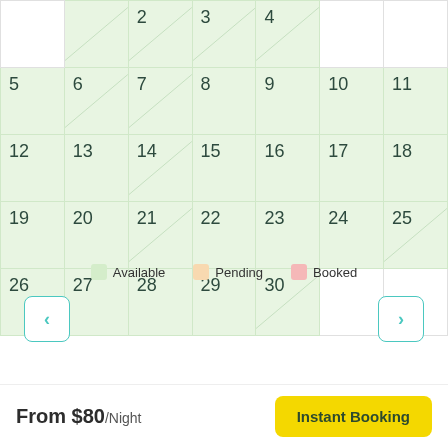[Figure (other): A monthly availability calendar showing dates 1-30+ with green (available) cells. The top row is partially visible showing dates 1-4. Full rows show 5-11, 12-18, 19-25, and 26-30. Cells have diagonal stripe overlays indicating unavailability.]
Available   Pending   Booked
From $80/Night
Instant Booking